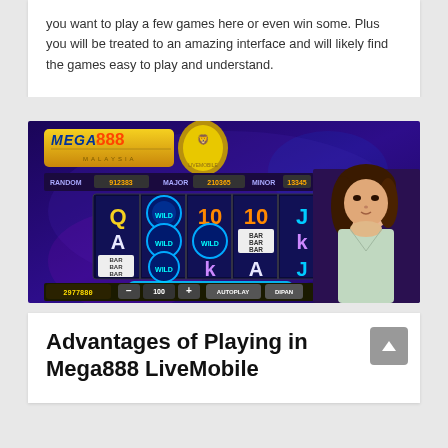you want to play a few games here or even win some. Plus you will be treated to an amazing interface and will likely find the games easy to play and understand.
[Figure (screenshot): Screenshot of Mega888 Malaysia online slot game interface showing slot machine reels with symbols (Q, A, K, J, 10, WILD, BAR), jackpot values (RANDOM 912383, MAJOR 210365, MINOR 13345), current balance 2977880, bet 100, with a young Asian woman posing beside the game screen.]
Advantages of Playing in Mega888 LiveMobile